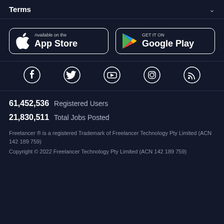Terms
[Figure (other): App Store and Google Play download buttons side by side]
[Figure (other): Social media icons row: Facebook, Twitter, YouTube, Instagram, RSS]
61,452,536  Registered Users
21,830,511  Total Jobs Posted
Freelancer ® is a registered Trademark of Freelancer Technology Pty Limited (ACN 142 189 759)
Copyright © 2022 Freelancer Technology Pty Limited (ACN 142 189 759)